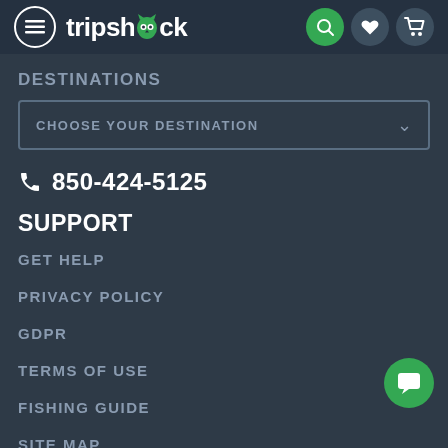tripshock
DESTINATIONS
CHOOSE YOUR DESTINATION
850-424-5125
SUPPORT
GET HELP
PRIVACY POLICY
GDPR
TERMS OF USE
FISHING GUIDE
SITE MAP